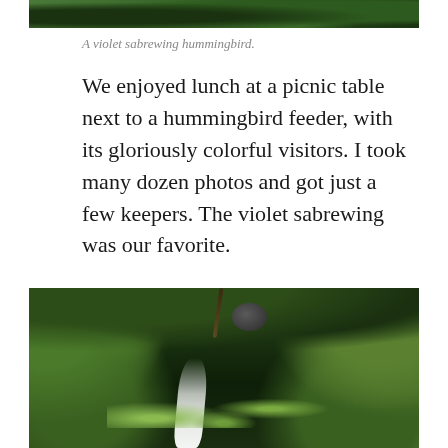[Figure (photo): Top portion of a photo showing a violet sabrewing hummingbird against a dark green leafy background (cropped, only bottom strip visible)]
A violet sabrewing hummingbird.
We enjoyed lunch at a picnic table next to a hummingbird feeder, with its gloriously colorful visitors. I took many dozen photos and got just a few keepers. The violet sabrewing was our favorite.
[Figure (photo): A lush green tropical rainforest waterfall scene with dense foliage, a narrow white waterfall cascading down rocks in the center, surrounded by mossy green plants and leafy vegetation.]